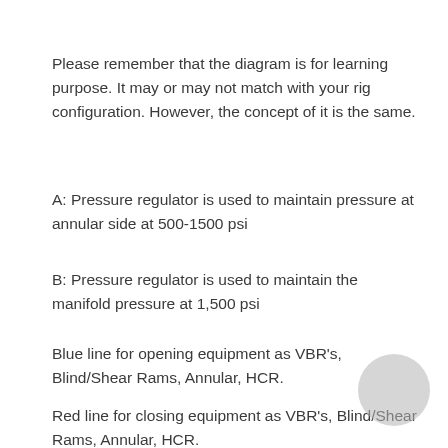Please remember that the diagram is for learning purpose. It may or may not match with your rig configuration. However, the concept of it is the same.
A: Pressure regulator is used to maintain pressure at annular side at 500-1500 psi
B: Pressure regulator is used to maintain the manifold pressure at 1,500 psi
Blue line for opening equipment as VBR's, Blind/Shear Rams, Annular, HCR.
Red line for closing equipment as VBR's, Blind/Shear Rams, Annular, HCR.